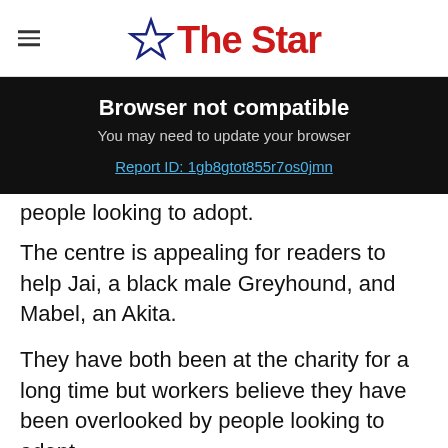The Star
[Figure (screenshot): Browser not compatible overlay banner with text: 'Browser not compatible. You may need to update your browser. Report ID: 1gb8gtot855r7os0jmn']
The centre is appealing for readers to help Jai, a black male Greyhound, and Mabel, an Akita.
They have both been at the charity for a long time but workers believe they have been overlooked by people looking to adopt.
Jai is three years and 10 months old and is